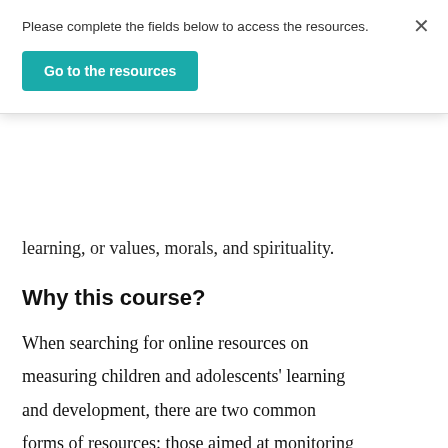Please complete the fields below to access the resources.
Go to the resources
learning, or values, morals, and spirituality.
Why this course?
When searching for online resources on measuring children and adolescents' learning and development, there are two common forms of resources: those aimed at monitoring outputs of programs (e.g., number of training